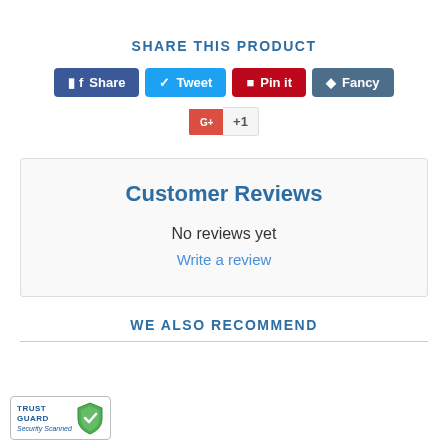SHARE THIS PRODUCT
[Figure (infographic): Social sharing buttons row: Facebook Share (blue), Tweet (light blue), Pin it (red), Fancy (slate blue), and Google +1 button below]
Customer Reviews
No reviews yet
Write a review
WE ALSO RECOMMEND
[Figure (logo): Trust Guard Security Scanned badge with shield icon]